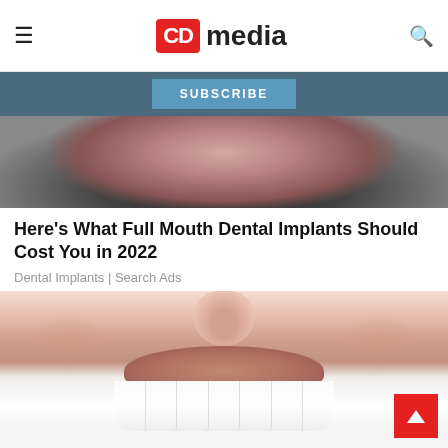CD media
[Figure (screenshot): Subscribe bar with blue background and SUBSCRIBE button]
[Figure (photo): Close-up partial face showing forehead/lips area, dark background]
Here's What Full Mouth Dental Implants Should Cost You in 2022
Dental Implants | Search Ads
[Figure (photo): Close-up of a smiling person showing bright white teeth, nose visible at top]